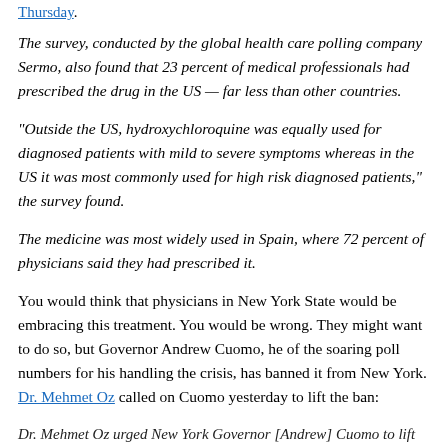Thursday.
The survey, conducted by the global health care polling company Sermo, also found that 23 percent of medical professionals had prescribed the drug in the US — far less than other countries.
"Outside the US, hydroxychloroquine was equally used for diagnosed patients with mild to severe symptoms whereas in the US it was most commonly used for high risk diagnosed patients," the survey found.
The medicine was most widely used in Spain, where 72 percent of physicians said they had prescribed it.
You would think that physicians in New York State would be embracing this treatment. You would be wrong. They might want to do so, but Governor Andrew Cuomo, he of the soaring poll numbers for his handling the crisis, has banned it from New York. Dr. Mehmet Oz called on Cuomo yesterday to lift the ban:
Dr. Mehmet Oz urged New York Governor [Andrew] Cuomo to lift restrictions placed on anti-malaria drugs that have been raised as